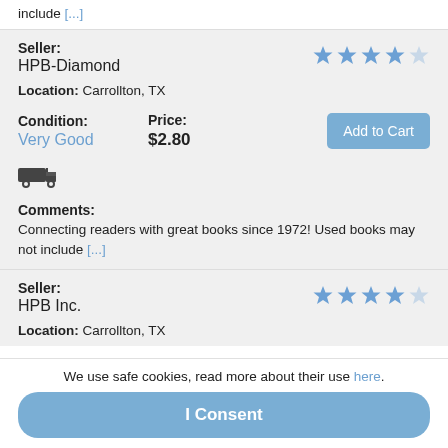include [...]
Seller: HPB-Diamond
Location: Carrollton, TX
Condition: Very Good
Price: $2.80
Comments: Connecting readers with great books since 1972! Used books may not include [...]
Seller: HPB Inc.
Location: Carrollton, TX
We use safe cookies, read more about their use here.
I Consent